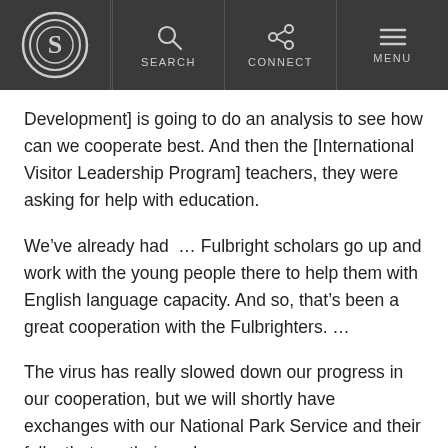SEARCH | CONNECT | MENU
Development] is going to do an analysis to see how can we cooperate best. And then the [International Visitor Leadership Program] teachers, they were asking for help with education.
We’ve already had … Fulbright scholars go up and work with the young people there to help them with English language capacity. And so, that’s been a great cooperation with the Fulbrighters. …
The virus has really slowed down our progress in our cooperation, but we will shortly have exchanges with our National Park Service and their folks that run their parks.